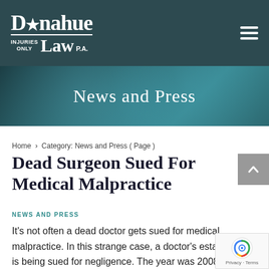[Figure (logo): Donahue Law P.A. — Injuries Only logo in white on dark teal header bar with hamburger menu icon]
[Figure (photo): Hero banner with bokeh light background reading 'News and Press']
News and Press
Home > Category: News and Press ( Page )
Dead Surgeon Sued For Medical Malpractice
NEWS AND PRESS
It's not often a dead doctor gets sued for medical malpractice. In this strange case, a doctor's estate is being sued for negligence. The year was 2008. The